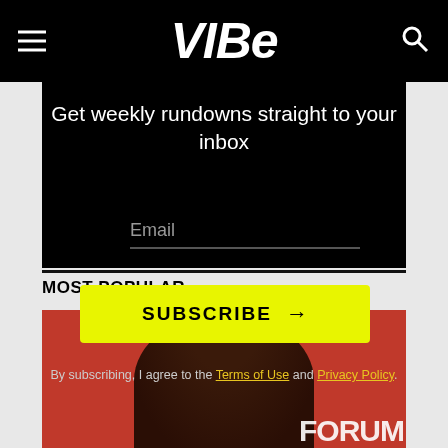VIBE
Get weekly rundowns straight to your inbox
Email
SUBSCRIBE →
By subscribing, I agree to the Terms of Use and Privacy Policy.
MOST POPULAR
[Figure (photo): Photo of a person with curly hair in front of a red background with text 'FORUM']